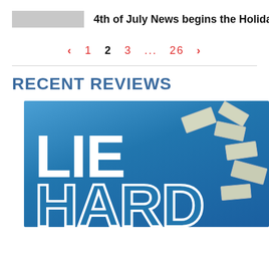4th of July News begins the Holiday
‹ 1 2 3 ... 26 ›
RECENT REVIEWS
[Figure (photo): Book cover for 'Lie Hard' featuring large white bold text on a blue sky background with money bills flying in the air.]